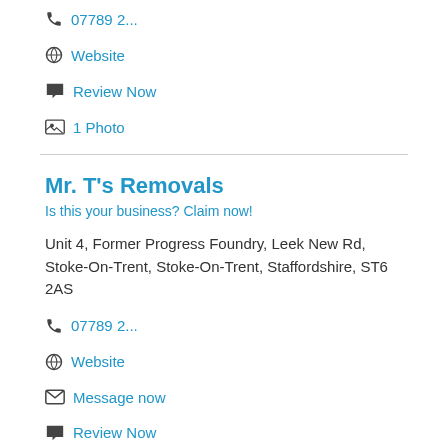07789 2...
Website
Review Now
1 Photo
Mr. T's Removals
Is this your business? Claim now!
Unit 4, Former Progress Foundry, Leek New Rd, Stoke-On-Trent, Stoke-On-Trent, Staffordshire, ST6 2AS
07789 2...
Website
Message now
Review Now